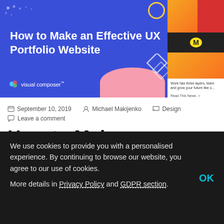[Figure (screenshot): Hero banner with blue background showing 'How to Make an Effective UX Portfolio Website' with Visual Composer branding, decorative shapes, and a right-side panel with orange/red sections and newsletter content]
September 10, 2019   Michael Makijenko   Design
Leave a comment
How to Make an Effective UX Portfolio Website
We use cookies to provide you with a personalised experience. By continuing to browse our website, you agree to our use of cookies.

More details in Privacy Policy and GDPR section.